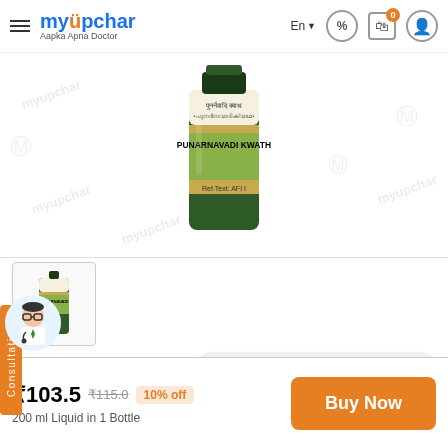myUpchar — Aapka Apna Doctor | En | Cart 0
[Figure (photo): Product image of Punarnavadi Kwath bottle — green and gold labeled bottle on white background with myUpchar watermarks]
[Figure (photo): Small thumbnail of Punarnavadi Kwath bottle]
510 people have bought this recently
Manufactured by: Kerala Ayurveda
Seller: Kerala Ayurveda
₹103.5 ₹115.0 10% off
200 ml Liquid in 1 Bottle